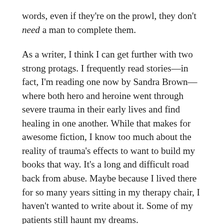words, even if they're on the prowl, they don't need a man to complete them.
As a writer, I think I can get further with two strong protags. I frequently read stories—in fact, I'm reading one now by Sandra Brown—where both hero and heroine went through severe trauma in their early lives and find healing in one another. While that makes for awesome fiction, I know too much about the reality of trauma's effects to want to build my books that way. It's a long and difficult road back from abuse. Maybe because I lived there for so many years sitting in my therapy chair, I haven't wanted to write about it. Some of my patients still haunt my dreams.
I suppose when all is said and done, I gravitate toward characters with strong personalities and plots that challenge their strength. The beauty of romance is the HEA or HFN and all that simmering sexual tension. The